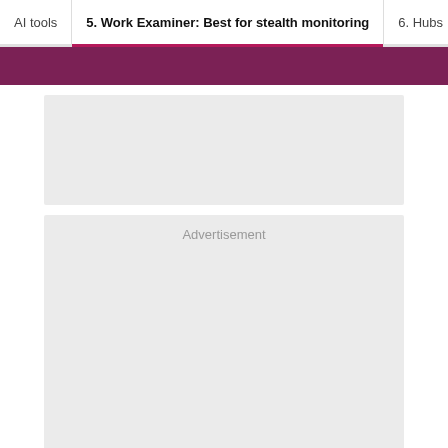AI tools | 5. Work Examiner: Best for stealth monitoring | 6. Hubs
[Figure (other): Gray placeholder rectangle (top ad/image area)]
[Figure (other): Advertisement placeholder box with label 'Advertisement']